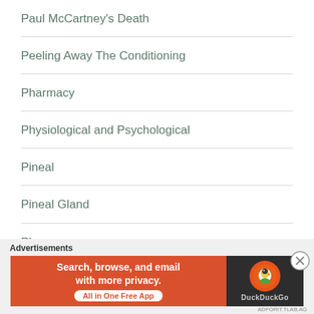Paul McCartney's Death
Peeling Away The Conditioning
Pharmacy
Physiological and Psychological
Pineal
Pineal Gland
Places
[Figure (screenshot): DuckDuckGo advertisement banner: orange left panel with text 'Search, browse, and email with more privacy. All in One Free App', dark right panel with DuckDuckGo duck logo and brand name.]